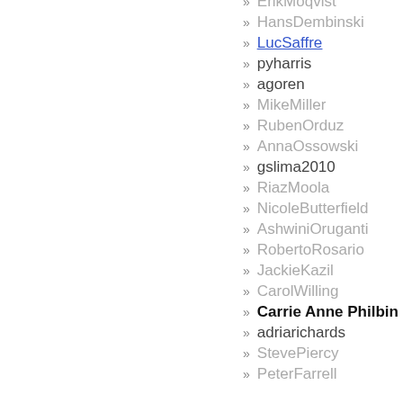ErikMoqvist
HansDembinski
LucSaffre
pyharris
agoren
MikeMiller
RubenOrduz
AnnaOssowski
gslima2010
RiazMoola
NicoleButterfield
AshwiniOruganti
RobertoRosario
JackieKazil
CarolWilling
Carrie Anne Philbin
adriarichards
StevePiercy
PeterFarrell